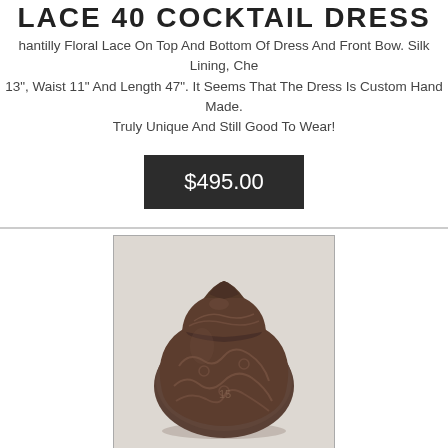LACE 40 COCKTAIL DRESS
hantilly Floral Lace On Top And Bottom Of Dress And Front Bow. Silk Lining, Chest 13", Waist 11" And Length 47". It Seems That The Dress Is Custom Hand Made. Truly Unique And Still Good To Wear!
$495.00
[Figure (photo): A dark bronze/brown decorative pot or urn with intricate floral/scroll embossed patterns and a fitted lid, photographed against a light background.]